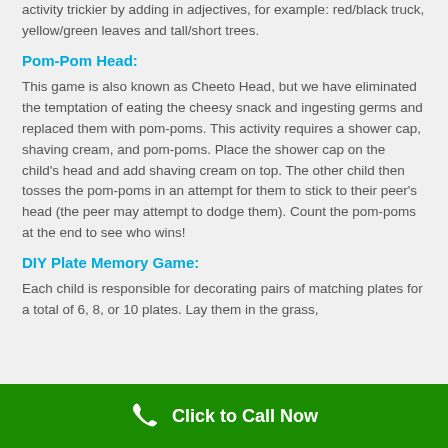activity trickier by adding in adjectives, for example: red/black truck, yellow/green leaves and tall/short trees.
Pom-Pom Head:
This game is also known as Cheeto Head, but we have eliminated the temptation of eating the cheesy snack and ingesting germs and replaced them with pom-poms. This activity requires a shower cap, shaving cream, and pom-poms. Place the shower cap on the child's head and add shaving cream on top. The other child then tosses the pom-poms in an attempt for them to stick to their peer's head (the peer may attempt to dodge them). Count the pom-poms at the end to see who wins!
DIY Plate Memory Game:
Each child is responsible for decorating pairs of matching plates for a total of 6, 8, or 10 plates. Lay them in the grass,
Click to Call Now